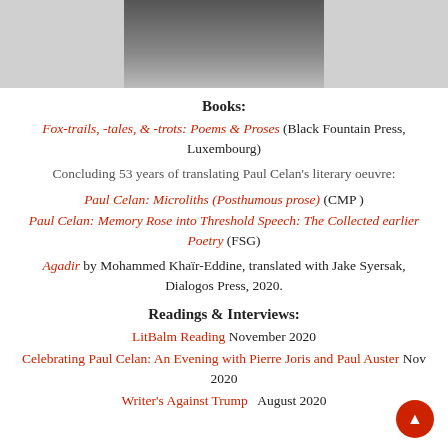[Figure (photo): Black and white photo of a person, cropped to show upper body, partially visible at top of page.]
Books:
Fox-trails, -tales, & -trots: Poems & Proses (Black Fountain Press, Luxembourg)
Concluding 53 years of translating Paul Celan's literary oeuvre:
Paul Celan: Microliths (Posthumous prose) (CMP)
Paul Celan: Memory Rose into Threshold Speech: The Collected earlier Poetry (FSG)
Agadir by Mohammed Khaïr-Eddine, translated with Jake Syersak, Dialogos Press, 2020.
Readings & Interviews:
LitBalm Reading November 2020
Celebrating Paul Celan: An Evening with Pierre Joris and Paul Auster Nov 2020
Writer's Against Trump   August 2020